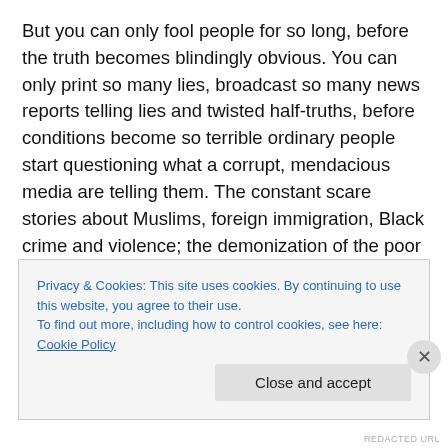But you can only fool people for so long, before the truth becomes blindingly obvious. You can only print so many lies, broadcast so many news reports telling lies and twisted half-truths, before conditions become so terrible ordinary people start questioning what a corrupt, mendacious media are telling them. The constant scare stories about Muslims, foreign immigration, Black crime and violence; the demonization of the poor and people on benefit. The constant claim that if working people are poor, it's because they're 'feckless' to use Gordon Brown's phrase. Because they don't work hard enough, have too
Privacy & Cookies: This site uses cookies. By continuing to use this website, you agree to their use.
To find out more, including how to control cookies, see here: Cookie Policy
Close and accept
REDACTED URL